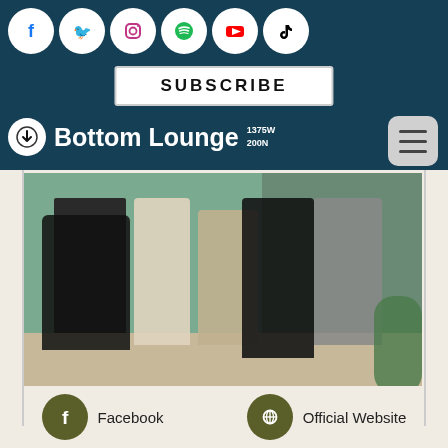[Figure (screenshot): Bottom Lounge venue website screenshot showing social media icons (Facebook, Twitter, Instagram, Spotify, YouTube, TikTok), a SUBSCRIBE button, venue logo and name 'Bottom Lounge 1375W 200N', a band photo of 4-5 people in a room with tiled floor and teal walls, and bottom links for Facebook and Official Website]
Bottom Lounge 1375W 200N
SUBSCRIBE
Facebook
Official Website